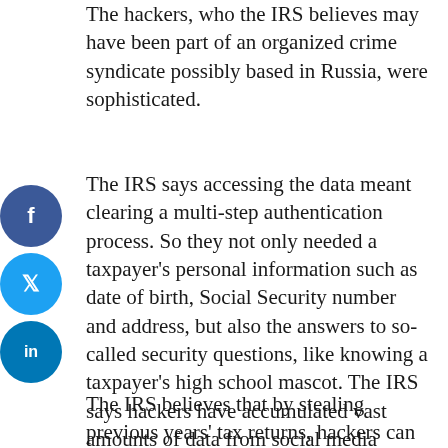The hackers, who the IRS believes may have been part of an organized crime syndicate possibly based in Russia, were sophisticated.
The IRS says accessing the data meant clearing a multi-step authentication process. So they not only needed a taxpayer's personal information such as date of birth, Social Security number and address, but also the answers to so-called security questions, like knowing a taxpayer's high school mascot. The IRS says hackers have accumulated vast amounts of data from social media sources such as Facebook.
The IRS believes that by stealing previous years' tax returns, hackers can better prepare